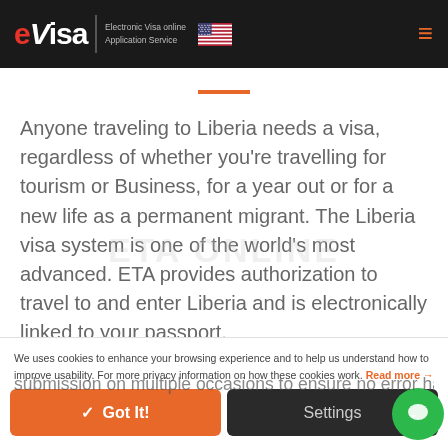eVisa | Electronic Visa online Application Service
Anyone traveling to Liberia needs a visa, regardless of whether you're travelling for tourism or Business, for a year out or for a new life as a permanent migrant. The Liberia visa system is one of the world's most advanced. ETA provides authorization to travel to and enter Liberia and is electronically linked to your passport.
We uses cookies to enhance your browsing experience and to help us understand how to improve usability. For more privacy information on how these cookies work. Read more →
✓ Got It!   Settings
submission on multiple occasions to ensure no error has